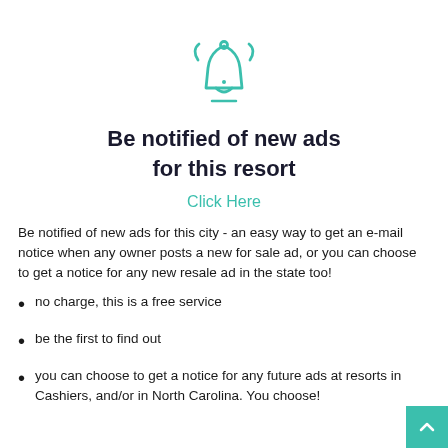[Figure (illustration): Teal/green bell notification icon with motion lines and a horizontal line beneath it]
Be notified of new ads for this resort
Click Here
Be notified of new ads for this city - an easy way to get an e-mail notice when any owner posts a new for sale ad, or you can choose to get a notice for any new resale ad in the state too!
no charge, this is a free service
be the first to find out
you can choose to get a notice for any future ads at resorts in Cashiers, and/or in North Carolina. You choose!